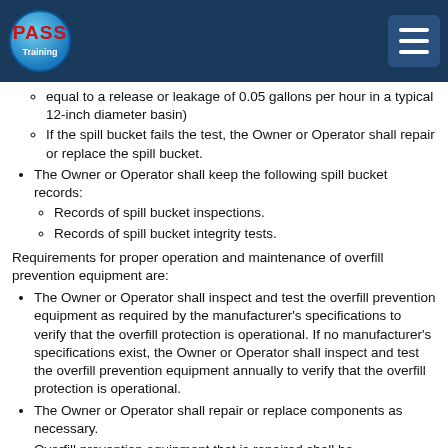PASS Training
equal to a release or leakage of 0.05 gallons per hour in a typical 12-inch diameter basin)
If the spill bucket fails the test, the Owner or Operator shall repair or replace the spill bucket.
The Owner or Operator shall keep the following spill bucket records:
Records of spill bucket inspections.
Records of spill bucket integrity tests.
Requirements for proper operation and maintenance of overfill prevention equipment are:
The Owner or Operator shall inspect and test the overfill prevention equipment as required by the manufacturer's specifications to verify that the overfill protection is operational. If no manufacturer's specifications exist, the Owner or Operator shall inspect and test the overfill prevention equipment annually to verify that the overfill protection is operational.
The Owner or Operator shall repair or replace components as necessary.
Overfill prevention equipment that is repaired shall be